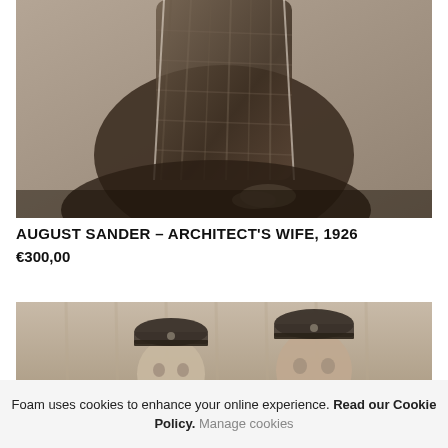[Figure (photo): Sepia-toned vintage photograph showing the upper torso and body of a seated woman in a plaid/checked dress, head cropped out at top of frame, with one hand resting on a surface. The background is plain and muted.]
AUGUST SANDER – ARCHITECT'S WIFE, 1926
€300,00
[Figure (photo): Sepia-toned vintage photograph showing two men wearing military or official peaked caps, partially cropped, facing forward. Background has vertical curtain-like texture.]
Foam uses cookies to enhance your online experience. Read our Cookie Policy. Manage cookies